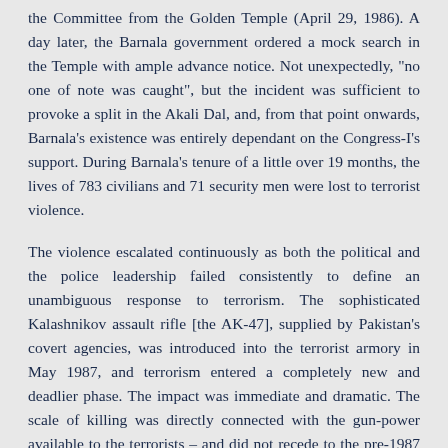the Committee from the Golden Temple (April 29, 1986). A day later, the Barnala government ordered a mock search in the Temple with ample advance notice. Not unexpectedly, "no one of note was caught", but the incident was sufficient to provoke a split in the Akali Dal, and, from that point onwards, Barnala's existence was entirely dependant on the Congress-I's support. During Barnala's tenure of a little over 19 months, the lives of 783 civilians and 71 security men were lost to terrorist violence.
The violence escalated continuously as both the political and the police leadership failed consistently to define an unambiguous response to terrorism. The sophisticated Kalashnikov assault rifle [the AK-47], supplied by Pakistan's covert agencies, was introduced into the terrorist armory in May 1987, and terrorism entered a completely new and deadlier phase. The impact was immediate and dramatic. The scale of killing was directly connected with the gun-power available to the terrorists – and did not recede to the pre-1987 level until the terrorists were finally crushed towards the end of 1992. By comparison, the Police were poorly equipped with with World War II vintage .303 rifles, or the equally obsolete bolt-action 7.62s. The Central Reserve Police Force (CRPF) was marginally better off, with 175 Self Loading Rifles [SLRs] per battalion. But even the SLR was no